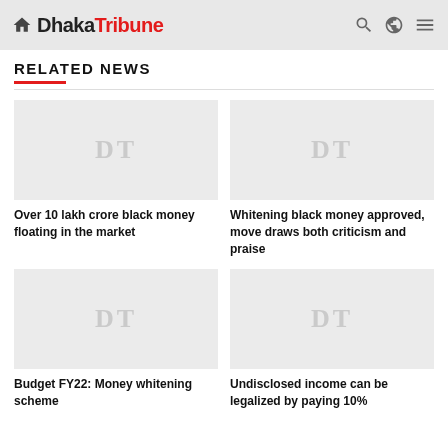Dhaka Tribune
RELATED NEWS
[Figure (photo): Placeholder image with DT watermark for article: Over 10 lakh crore black money floating in the market]
Over 10 lakh crore black money floating in the market
[Figure (photo): Placeholder image with DT watermark for article: Whitening black money approved, move draws both criticism and praise]
Whitening black money approved, move draws both criticism and praise
[Figure (photo): Placeholder image with DT watermark for article: Budget FY22: Money whitening scheme]
Budget FY22: Money whitening scheme
[Figure (photo): Placeholder image with DT watermark for article: Undisclosed income can be legalized by paying 10%]
Undisclosed income can be legalized by paying 10%